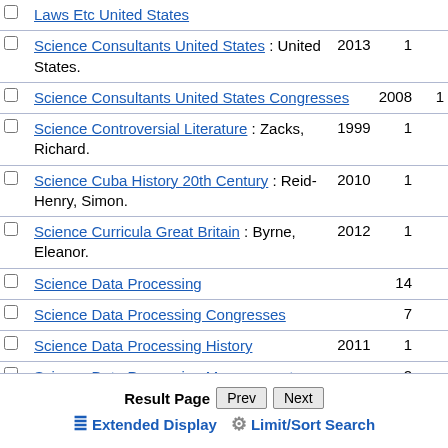Laws Etc United States
Science Consultants United States : United States. 2013 1
Science Consultants United States Congresses 2008 1
Science Controversial Literature : Zacks, Richard. 1999 1
Science Cuba History 20th Century : Reid-Henry, Simon. 2010 1
Science Curricula Great Britain : Byrne, Eleanor. 2012 1
Science Data Processing 14
Science Data Processing Congresses 7
Science Data Processing History 2011 1
Science Data Processing Management 2
Result Page  Prev  Next
Extended Display   Limit/Sort Search